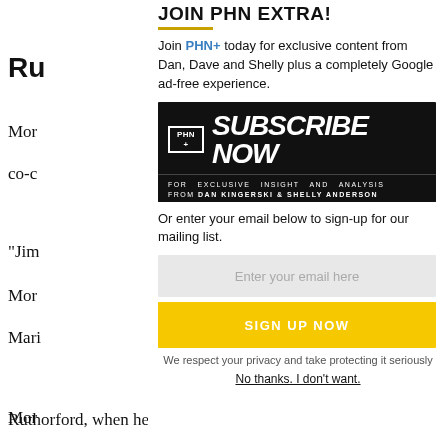Ru
Mor
co-c

"Jim
Mor
Mari

Mor
worl
that
thro

Ruthorford, when he was hired after a long
JOIN PHN EXTRA!
Join PHN+ today for exclusive content from Dan, Dave and Shelly plus a completely Google ad-free experience.
[Figure (other): PHN+ Subscribe Now banner - black background with white bold italic text 'SUBSCRIBE NOW' and tagline 'FOR EXCLUSIVE INSIGHT AND ANALYSIS FROM DAN KINGERSKI & SHELLY ANDERSON']
Or enter your email below to sign-up for our mailing list.
Enter your email here
SIGN UP NOW
We respect your privacy and take protecting it seriously
No thanks. I don't want.